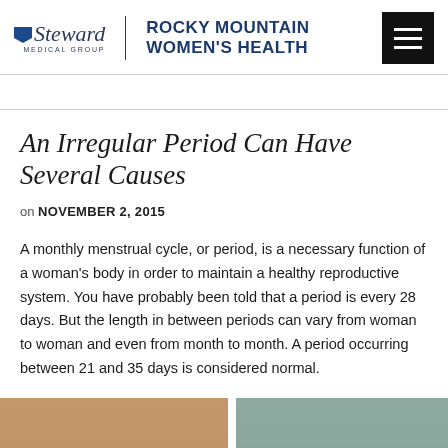Steward Medical Group | ROCKY MOUNTAIN WOMEN'S HEALTH
An Irregular Period Can Have Several Causes
on NOVEMBER 2, 2015
A monthly menstrual cycle, or period, is a necessary function of a woman's body in order to maintain a healthy reproductive system. You have probably been told that a period is every 28 days. But the length in between periods can vary from woman to woman and even from month to month. A period occurring between 21 and 35 days is considered normal.
[Figure (photo): Partial photo strip at bottom of page showing images of women, cropped at page edge]